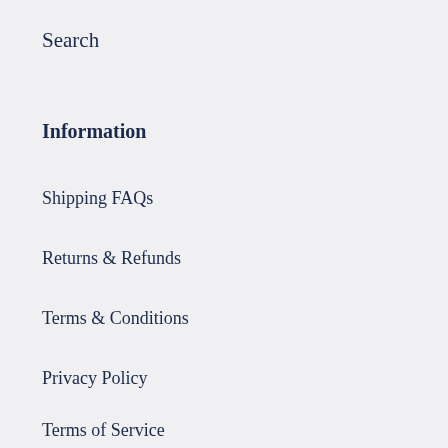Search
Information
Shipping FAQs
Returns & Refunds
Terms & Conditions
Privacy Policy
Terms of Service